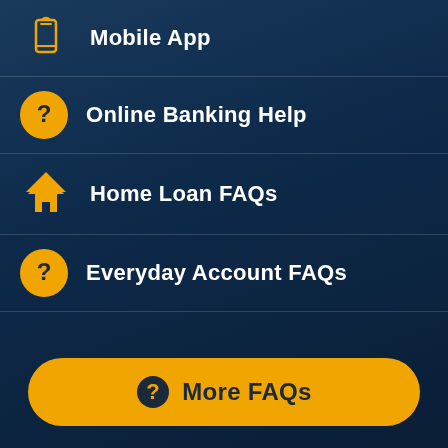Mobile App
Online Banking Help
Home Loan FAQs
Everyday Account FAQs
More FAQs